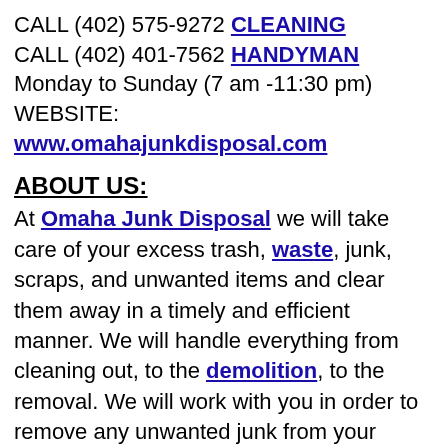CALL (402) 575-9272 CLEANING
CALL (402) 401-7562 HANDYMAN
Monday to Sunday (7 am -11:30 pm)
WEBSITE: www.omahajunkdisposal.com
ABOUT US:
At Omaha Junk Disposal we will take care of your excess trash, waste, junk, scraps, and unwanted items and clear them away in a timely and efficient manner. We will handle everything from cleaning out, to the demolition, to the removal. We will work with you in order to remove any unwanted junk from your property. We can take care of almost anything, so do not hesitate to contact us. We will go wherever you need us to go and we will do it all with a fast and friendly